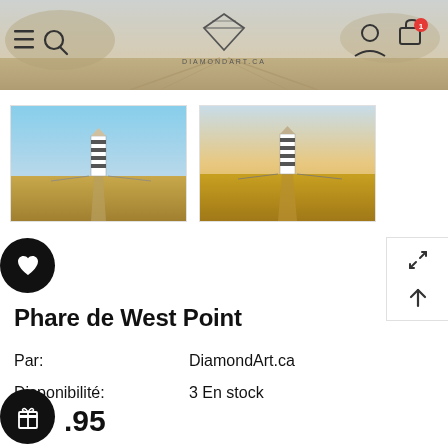[Figure (screenshot): Website header banner showing a boardwalk/pathway scene with navigation icons (hamburger menu, search) on the left, DiamondArt.ca diamond logo in the center, and user/cart icons on the right. Cart has a red badge.]
[Figure (photo): Two product thumbnail images of lighthouse (Phare de West Point) diamond art kit — left thumbnail shows daytime blue-sky version, right thumbnail shows golden-hour version of the same lighthouse scene.]
Phare de West Point
Par:              DiamondArt.ca
Disponibilité:    3 En stock
.95